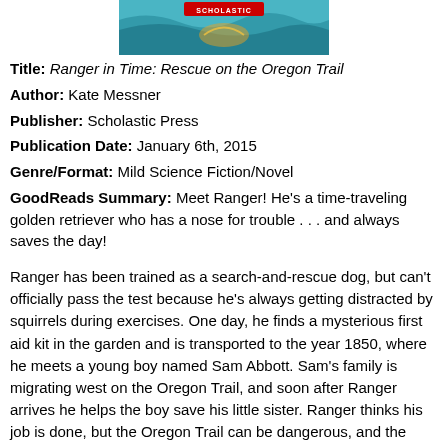[Figure (illustration): Book cover image for Ranger in Time: Rescue on the Oregon Trail, showing a Scholastic Press logo and cover art with turquoise/teal background]
Title: Ranger in Time: Rescue on the Oregon Trail
Author: Kate Messner
Publisher: Scholastic Press
Publication Date: January 6th, 2015
Genre/Format: Mild Science Fiction/Novel
GoodReads Summary: Meet Ranger! He's a time-traveling golden retriever who has a nose for trouble . . . and always saves the day!
Ranger has been trained as a search-and-rescue dog, but can't officially pass the test because he's always getting distracted by squirrels during exercises. One day, he finds a mysterious first aid kit in the garden and is transported to the year 1850, where he meets a young boy named Sam Abbott. Sam's family is migrating west on the Oregon Trail, and soon after Ranger arrives he helps the boy save his little sister. Ranger thinks his job is done, but the Oregon Trail can be dangerous, and the Abbotts need Ranger's help more than they realize!
What I Think: First of all, this brought back memories of